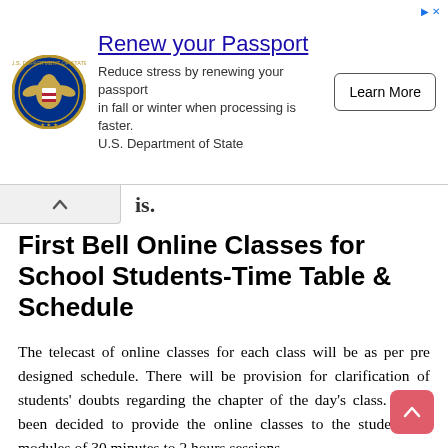[Figure (other): US Department of State passport renewal advertisement banner with eagle seal logo, title 'Renew your Passport', body text about stress reduction, and a 'Learn More' button.]
is.
First Bell Online Classes for School Students-Time Table & Schedule
The telecast of online classes for each class will be as per pre designed schedule. There will be provision for clarification of students' doubts regarding the chapter of the day's class. It has been decided to provide the online classes to the students as modules of 30 minutes to 2 hours sessions.
Apart from this, discussions and clarifications can be done with the students through social media like Whatsapp, Telegram, Facebook or Instagram like. Evaluation can be done once the educational institutions come back to its full swing and further pedagogical transactions shall be done accordingly. It is hoped that it would render more or less